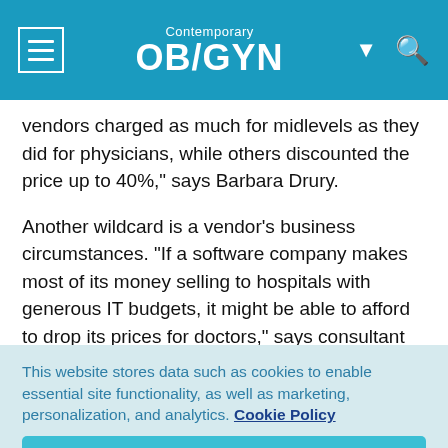Contemporary OB/GYN
vendors charged as much for midlevels as they did for physicians, while others discounted the price up to 40%," says Barbara Drury.
Another wildcard is a vendor's business circumstances. "If a software company makes most of its money selling to hospitals with generous IT budgets, it might be able to afford to drop its prices for doctors," says consultant Rosemarie Nelson. "And a privately held company may be on the low side
This website stores data such as cookies to enable essential site functionality, as well as marketing, personalization, and analytics. Cookie Policy
Accept
Deny